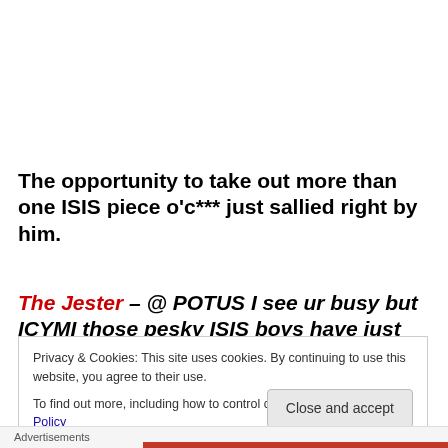The opportunity to take out more than one ISIS piece o'c*** just sallied right by him.
The Jester – @ POTUS I see ur busy but ICYMI those pesky ISIS boys have just taken Ramadi. Strategic
Privacy & Cookies: This site uses cookies. By continuing to use this website, you agree to their use.
To find out more, including how to control cookies, see here: Cookie Policy
Close and accept
Advertisements